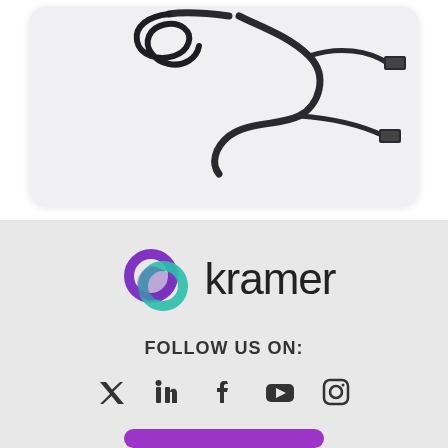[Figure (photo): USB cable with multiple connectors (Y-cable) photographed on a light gray background inside a rounded card]
[Figure (logo): Kramer Electronics logo: two overlapping ring shapes in purple and teal/green, beside the word 'kramer' in dark sans-serif text]
FOLLOW US ON:
[Figure (other): Row of social media icons: Twitter, LinkedIn, Facebook, YouTube, Instagram]
[Figure (other): Purple rounded button at bottom]